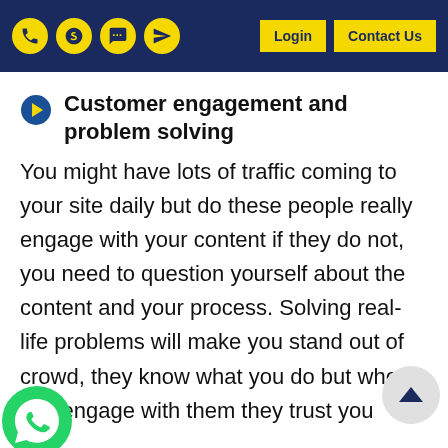Login | Contact Us
Customer engagement and problem solving
You might have lots of traffic coming to your site daily but do these people really engage with your content if they do not, you need to question yourself about the content and your process. Solving real-life problems will make you stand out of crowd, they know what you do but when you engage with them they trust you